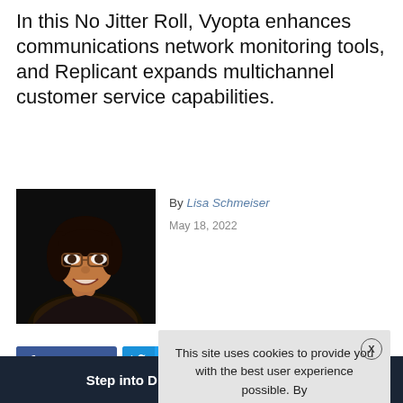In this No Jitter Roll, Vyopta enhances communications network monitoring tools, and Replicant expands multichannel customer service capabilities.
[Figure (photo): Headshot photo of Lisa Schmeiser, a woman with dark hair and glasses, smiling, on a dark background.]
By Lisa Schmeiser
May 18, 2022
Share (Facebook)
Tweet (Twitter)
Share (LinkedIn)
This site uses cookies to provide you with the best user experience possible. By
[Figure (infographic): Bottom advertisement banner: 'Step into Digital SUPERIENCE NICE' on dark navy background with teal accent colors.]